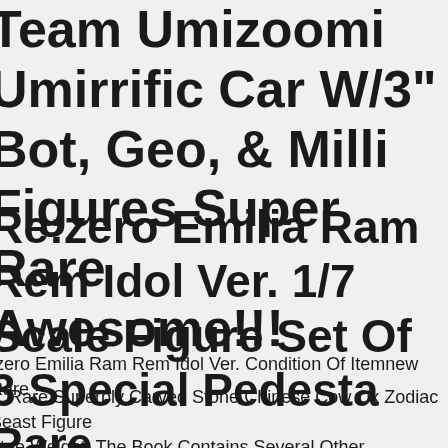Team Umizoomi Umirrific Car W/3" Bot, Geo, & Milli Figures Super Rare Awesome!!!
Re:zero Emilia Ram Rem Idol Ver. 1/7 Scale Figure Set Of 3 Special Pedestal Rare
:zero Emilia Ram Rem Idol Ver. Condition Of Itemnew Rare !
c. Rare Superbly Carved Stone Chinese Cow Ox Zodiac Beast Figure. Statue Weight. The Book Contains Several Other Appraisals That Have Been Taped Over. I Found A Similar Ox Online, The Ox Was Said To Be. Weight That Was Put On The Babies Clothingdiaper On The Edge Of Table To Hold A Baby While Busy.